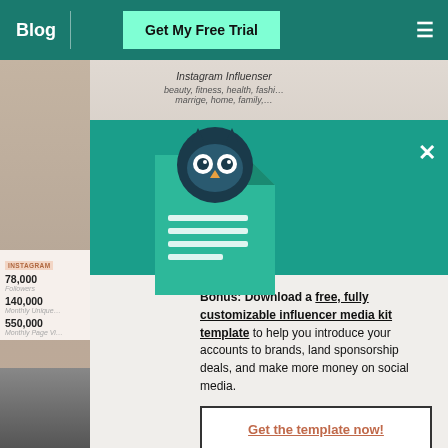Blog | Get My Free Trial
[Figure (screenshot): Hootsuite blog page screenshot showing a modal popup overlay on top of an Instagram influencer media kit article. The modal has a teal background with a document/owl logo graphic, a close X button, promotional text about downloading a free influencer media kit template, and a CTA button.]
Bonus: Download a free, fully customizable influencer media kit template to help you introduce your accounts to brands, land sponsorship deals, and make more money on social media.
Get the template now!